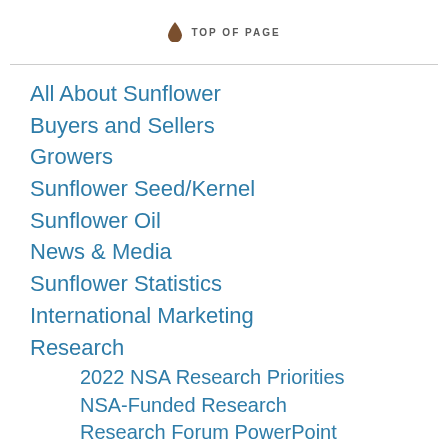TOP OF PAGE
All About Sunflower
Buyers and Sellers
Growers
Sunflower Seed/Kernel
Sunflower Oil
News & Media
Sunflower Statistics
International Marketing
Research
2022 NSA Research Priorities
NSA-Funded Research
Research Forum PowerPoint Presentations Since